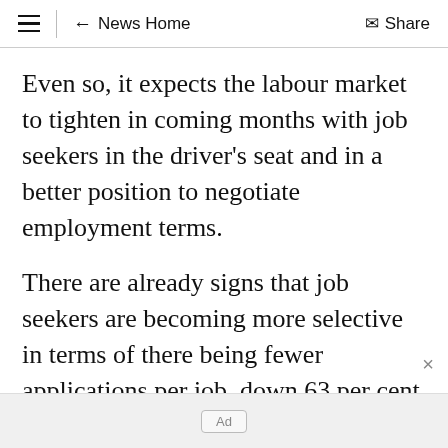≡  ← News Home  Share
Even so, it expects the labour market to tighten in coming months with job seekers in the driver's seat and in a better position to negotiate employment terms.
There are already signs that job seekers are becoming more selective in terms of there being fewer applications per job, down 63 per cent compared to 12 months earlier.
"In order to attract and retain top talent,
Ad